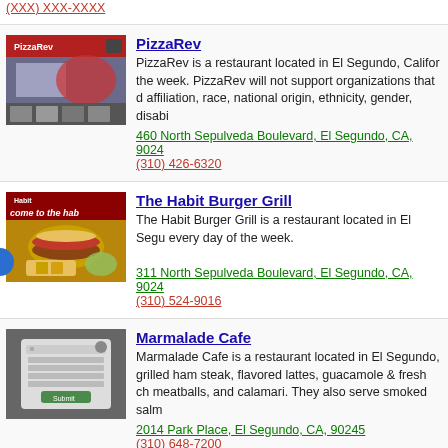(XXX) XXX-XXXX (partial top phone)
PizzaRev
PizzaRev is a restaurant located in El Segundo, California, open every day of the week. PizzaRev will not support organizations that discriminate on the basis of political affiliation, race, national origin, ethnicity, gender, disability...
460 North Sepulveda Boulevard, El Segundo, CA, 9024...
(310) 426-6320
The Habit Burger Grill
The Habit Burger Grill is a restaurant located in El Segundo... every day of the week.
311 North Sepulveda Boulevard, El Segundo, CA, 9024...
(310) 524-9016
Marmalade Cafe
Marmalade Cafe is a restaurant located in El Segundo, ... grilled ham steak, flavored lattes, guacamole & fresh ch... meatballs, and calamari. They also serve smoked salm...
2014 Park Place, El Segundo, CA, 90245
(310) 648-7200
Samosa House El Segundo
Samosa House El Segundo is a restaurant located in El Segundo... day of the week. At over 8500 sq ft, Samosa House has... have a wide selection of Spices, Lentils, Rice, Flours ar...
700 South Allied Way, El Segundo, CA, 90245
(310) 496-7389